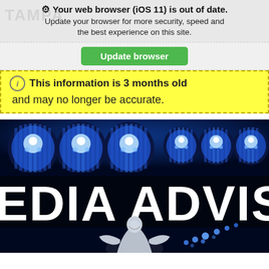⚙ Your web browser (iOS 11) is out of date. Update your browser for more security, speed and the best experience on this site.
[Figure (screenshot): Update browser green button]
ⓘ This information is 3 months old and may no longer be accurate.
[Figure (photo): Police media advisory image with blue flashing police lights and text reading EDIA ADVISOR (partial, MEDIA ADVISORY), with a weeping angel statue at the bottom]